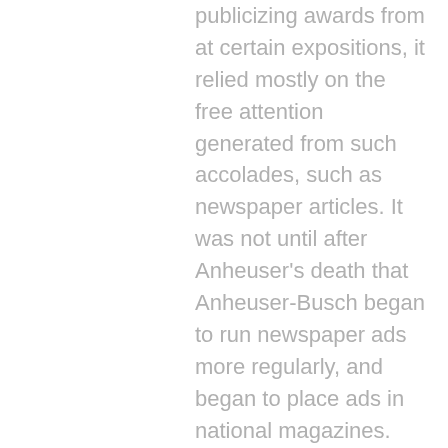publicizing awards from at certain expositions, it relied mostly on the free attention generated from such accolades, such as newspaper articles. It was not until after Anheuser's death that Anheuser-Busch began to run newspaper ads more regularly, and began to place ads in national magazines. Even then, it was a slow transition. The one exception to the advertisement policy was Anheuser and Busch's mutual friend Tony Faust, a restaurateur who advertised regularly in the papers and sometimes included advertisements (which were probably paid for jointly by Anheuser-Busch) promoting Anheuser-Busch beer at his establishments. In sum, though, print